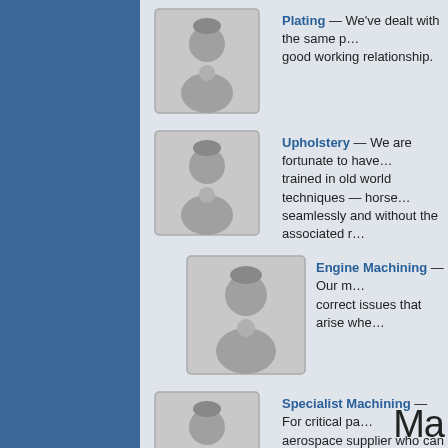Plating — We've dealt with the same pl… good working relationship.
Upholstery — We are fortunate to have… trained in old world techniques — horse… seamlessly and without the associated r…
Engine Machining — Our m… correct issues that arise whe…
Specialist Machining — For critical pa… aerospace supplier who can produce ex…
Graphic Artist — Accurately reproducin… understands the look and feel that need…
Ma